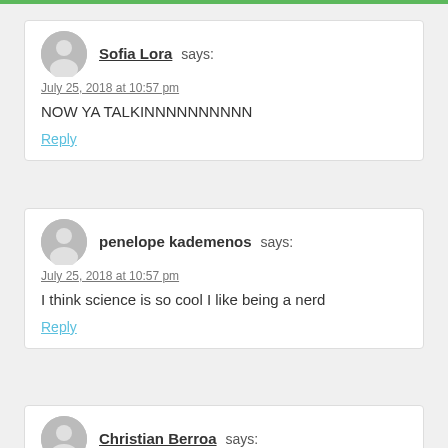Sofia Lora says:
July 25, 2018 at 10:57 pm
NOW YA TALKINNNNNNNNNN
Reply
penelope kademenos says:
July 25, 2018 at 10:57 pm
I think science is so cool I like being a nerd
Reply
Christian Berroa says:
July 25, 2018 at 10:57 pm
Let's see